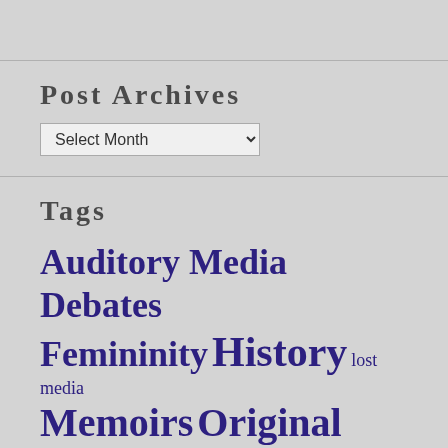Post Archives
Select Month (dropdown)
Tags
Auditory Media Debates Femininity History lost media Memoirs Original Creations Political Science Quickies social issues Speeches Vertigo Visual